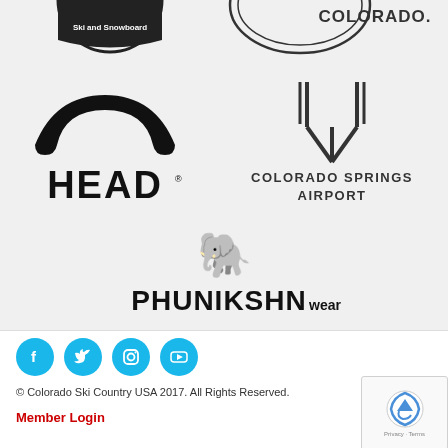[Figure (logo): Partial circular badge logo with 'Ski and Snowboard' text (top-left, cropped)]
[Figure (logo): COLORADO ski association logo (top-right, cropped)]
[Figure (logo): HEAD ski brand logo with arc symbol]
[Figure (logo): Colorado Springs Airport logo with Y-shaped fork symbol]
[Figure (logo): PHUNIKSHN Wear logo with elephant icon]
[Figure (logo): Social media icons: Facebook, Twitter, Instagram, YouTube (cyan circles)]
© Colorado Ski Country USA 2017. All Rights Reserved.
Member Login